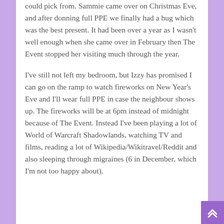could pick from. Sammie came over on Christmas Eve, and after donning full PPE we finally had a hug which was the best present. It had been over a year as I wasn't well enough when she came over in February then The Event stopped her visiting much through the year.
I've still not left my bedroom, but Izzy has promised I can go on the ramp to watch fireworks on New Year's Eve and I'll wear full PPE in case the neighbour shows up. The fireworks will be at 6pm instead of midnight because of The Event. Instead I've been playing a lot of World of Warcraft Shadowlands, watching TV and films, reading a lot of Wikipedia/Wikitravel/Reddit and also sleeping through migraines (6 in December, which I'm not too happy about).